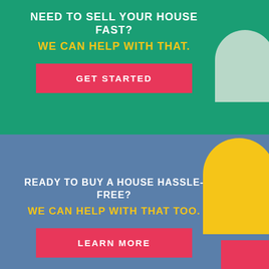NEED TO SELL YOUR HOUSE FAST?
WE CAN HELP WITH THAT.
GET STARTED
READY TO BUY A HOUSE HASSLE-FREE?
WE CAN HELP WITH THAT TOO.
LEARN MORE